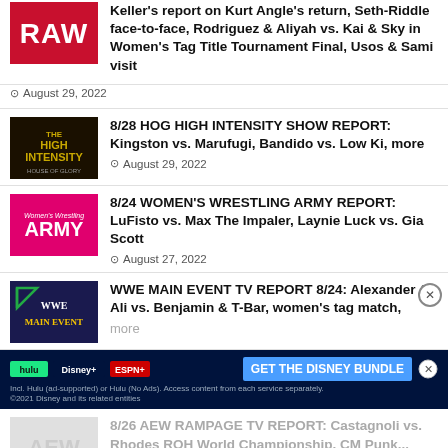Keller's report on Kurt Angle's return, Seth-Riddle face-to-face, Rodriguez & Aliyah vs. Kai & Sky in Women's Tag Title Tournament Final, Usos & Sami visit
August 29, 2022
8/28 HOG HIGH INTENSITY SHOW REPORT: Kingston vs. Marufugi, Bandido vs. Low Ki, more
August 29, 2022
8/24 WOMEN'S WRESTLING ARMY REPORT: LuFisto vs. Max The Impaler, Laynie Luck vs. Gia Scott
August 27, 2022
WWE MAIN EVENT TV REPORT 8/24: Alexander & Ali vs. Benjamin & T-Bar, women's tag match, more
[Figure (other): Disney Bundle advertisement banner with Hulu, Disney+, ESPN+ logos and GET THE DISNEY BUNDLE CTA]
8/26 AEW RAMPAGE TV REPORT: Castagnoli vs. Rhodes ROH World Championship, CM Punk...